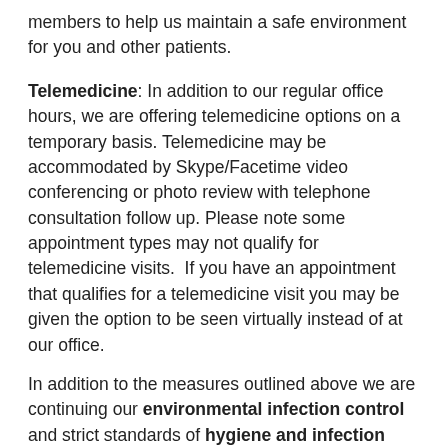members to help us maintain a safe environment for you and other patients.
Telemedicine: In addition to our regular office hours, we are offering telemedicine options on a temporary basis. Telemedicine may be accommodated by Skype/Facetime video conferencing or photo review with telephone consultation follow up. Please note some appointment types may not qualify for telemedicine visits.  If you have an appointment that qualifies for a telemedicine visit you may be given the option to be seen virtually instead of at our office.
In addition to the measures outlined above we are continuing our environmental infection control and strict standards of hygiene and infection control with our staff.  For more detailed information on these items please see our March 2020 blog post:  https://sccsmd.com/blog/